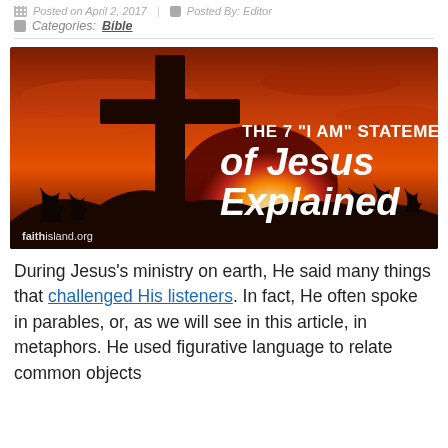Posted on April 2, 2017  |  Posted By: Editor  |  Categories: Bible
[Figure (illustration): A dramatic sunset image with a dark cross silhouette on a hill against an orange and red sky. Text overlay reads: THE 7 "I AM" STATEMENTS of Jesus Explained. faithisland.org watermark in lower left.]
During Jesus's ministry on earth, He said many things that challenged His listeners. In fact, He often spoke in parables, or, as we will see in this article, in metaphors. He used figurative language to relate common objects